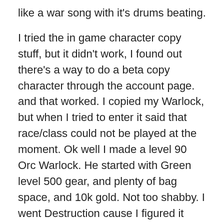like a war song with it's drums beating.

I tried the in game character copy stuff, but it didn't work, I found out there's a way to do a beta copy character through the account page. and that worked. I copied my Warlock, but when I tried to enter it said that race/class could not be played at the moment. Ok well I made a level 90 Orc Warlock. He started with Green level 500 gear, and plenty of bag space, and 10k gold. Not too shabby. I went Destruction cause I figured it was easiest way to start. My toon started on Draenor, and it had me plant banners, and click on flags which is an interesting new concept. The flags/banners we're like ghost, and you click on them and it plants them and it shows up. At least no bag space taken up.  After doing a couple of quests it tosses you right into your Garrison, and you start working on them. I left it